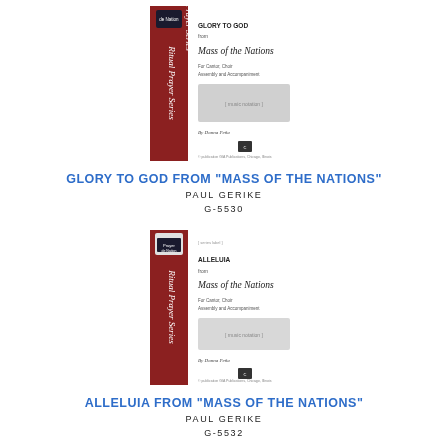[Figure (illustration): Sheet music cover for 'Glory to God from Mass of the Nations' - Ritual Prayer Series, with red spine, by Donna Pena]
GLORY TO GOD FROM "MASS OF THE NATIONS"
PAUL GERIKE
G-5530
[Figure (illustration): Sheet music cover for 'Alleluia from Mass of the Nations' - Ritual Prayer Series, with red spine, by Donna Pena]
ALLELUIA FROM "MASS OF THE NATIONS"
PAUL GERIKE
G-5532